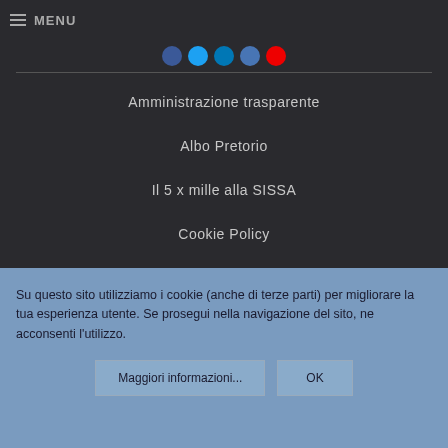MENU
Amministrazione trasparente
Albo Pretorio
Il 5 x mille alla SISSA
Cookie Policy
Contact Us
Su questo sito utilizziamo i cookie (anche di terze parti) per migliorare la tua esperienza utente. Se prosegui nella navigazione del sito, ne acconsenti l’utilizzo.
Maggiori informazioni...
OK